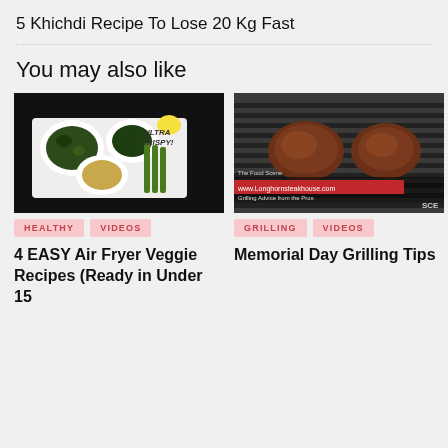5 Khichdi Recipe To Lose 20 Kg Fast
You may also like
[Figure (screenshot): Thumbnail showing bowls of vegetables and asparagus with text 'ULTRA CRISPY!']
[Figure (screenshot): Thumbnail showing grilled steaks on a grill grate with Longhorn Steakhouse branding overlay]
HEALTHY
VIDEOS
GRILLING
VIDEOS
4 EASY Air Fryer Veggie Recipes (Ready in Under 15
Memorial Day Grilling Tips